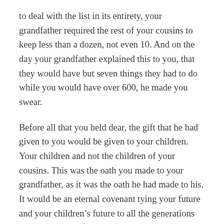to deal with the list in its entirety, your grandfather required the rest of your cousins to keep less than a dozen, not even 10. And on the day your grandfather explained this to you, that they would have but seven things they had to do while you would have over 600, he made you swear.
Before all that you held dear, the gift that he had given to you would be given to your children. Your children and not the children of your cousins. This was the oath you made to your grandfather, as it was the oath he had made to his. It would be an eternal covenant tying your future and your children’s future to all the generations that had come before.
From time to time, your cousins tried to persuade you to abandon your gift, your rules, the life you had built. In time, you married and your wife too